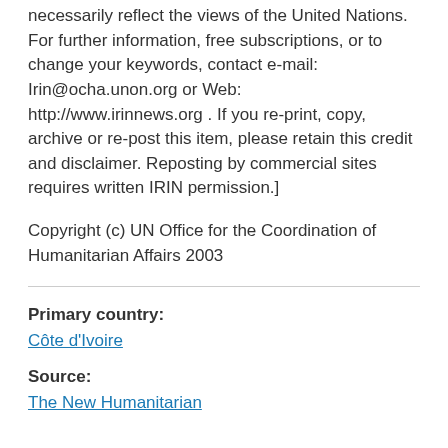necessarily reflect the views of the United Nations. For further information, free subscriptions, or to change your keywords, contact e-mail: Irin@ocha.unon.org or Web: http://www.irinnews.org . If you re-print, copy, archive or re-post this item, please retain this credit and disclaimer. Reposting by commercial sites requires written IRIN permission.]
Copyright (c) UN Office for the Coordination of Humanitarian Affairs 2003
Primary country:
Côte d'Ivoire
Source:
The New Humanitarian